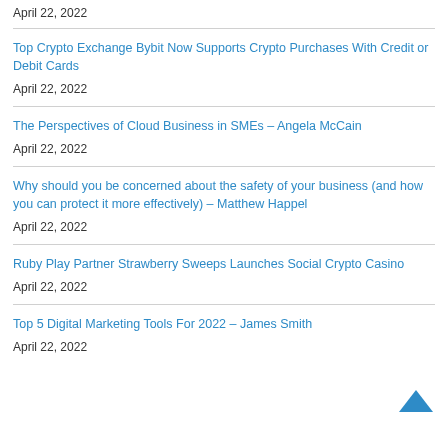April 22, 2022
Top Crypto Exchange Bybit Now Supports Crypto Purchases With Credit or Debit Cards
April 22, 2022
The Perspectives of Cloud Business in SMEs – Angela McCain
April 22, 2022
Why should you be concerned about the safety of your business (and how you can protect it more effectively) – Matthew Happel
April 22, 2022
Ruby Play Partner Strawberry Sweeps Launches Social Crypto Casino
April 22, 2022
Top 5 Digital Marketing Tools For 2022 – James Smith
April 22, 2022